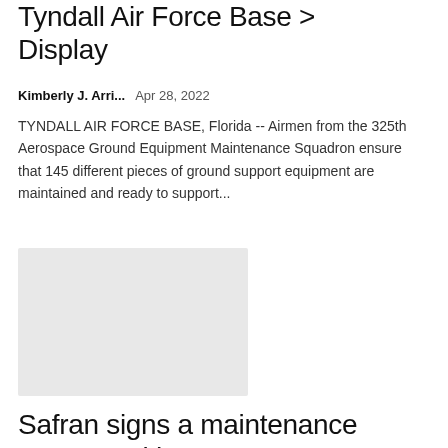Tyndall Air Force Base > Display
Kimberly J. Arri...   Apr 28, 2022
TYNDALL AIR FORCE BASE, Florida -- Airmen from the 325th Aerospace Ground Equipment Maintenance Squadron ensure that 145 different pieces of ground support equipment are maintained and ready to support...
[Figure (photo): Placeholder thumbnail image (light gray rectangle)]
Safran signs a maintenance contract with AJW Group